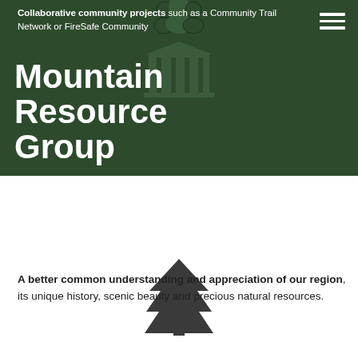[Figure (illustration): Dark green banner with a person silhouette icon at top center and a building/institution icon below it, plus a hamburger menu icon at top right]
Collaborative community projects such as a Community Trail Network or FireSafe Community
Mountain Resource Group
Increased depth, breadth and dissemination of knowledge about our local resources, leading to more informed and fair public policy decisions
[Figure (illustration): Dark pine/fir tree icon centered on the page]
A better common understanding and appreciation of our region, its unique history, scenic beauty and precious natural resources.